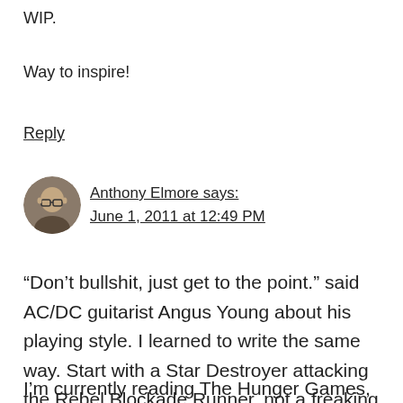WIP.
Way to inspire!
Reply
Anthony Elmore says:
June 1, 2011 at 12:49 PM
“Don’t bullshit, just get to the point.” said AC/DC guitarist Angus Young about his playing style. I learned to write the same way. Start with a Star Destroyer attacking the Rebel Blockade Runner, not a freaking union meeting.
I’m currently reading The Hunger Games,